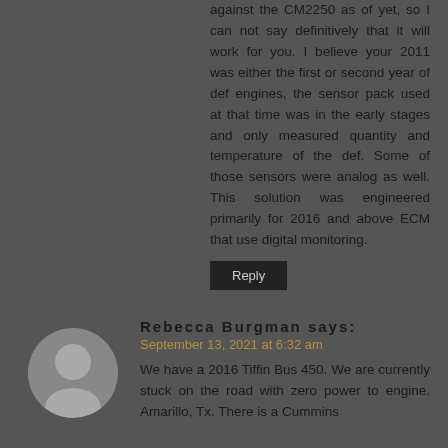against the CM2250 as of yet, so I can not say definitively that it will work for you. I believe your 2011 was either the first or second year of def engines, the sensor pack used at that time was in the early stages and only measured quantity and temperature of the def. Some of those sensors were analog as well. This solution was engineered primarily for 2016 and above ECM that use digital monitoring.
Reply
Rebecca Burgman says:
September 13, 2021 at 6:32 am
We have a 2016 Tiffin Bus 450. We are currently stuck on the road with zero power to engine. Amarillo, Tx. There is a Cummins